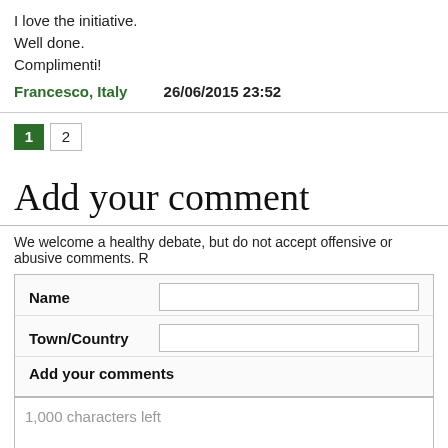I love the initiative.
Well done.
Complimenti!
Francesco, Italy    26/06/2015 23:52
1
2
Add your comment
We welcome a healthy debate, but do not accept offensive or abusive comments. R...
Name
Town/Country
Add your comments
1,000 characters left
The views expressed in the comments above are those of our readers. 'Si... moderate some comments.